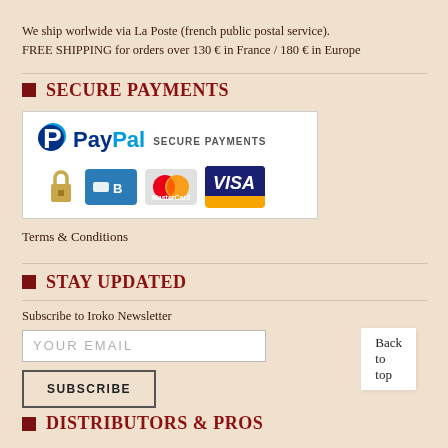We ship worlwide via La Poste (french public postal service).
FREE SHIPPING for orders over 130 € in France / 180 € in Europe
SECURE PAYMENTS
[Figure (logo): PayPal Secure Payments banner with PayPal logo, padlock icon, CB card, MasterCard, and Visa card logos]
Terms & Conditions
STAY UPDATED
Subscribe to Iroko Newsletter
YOUR EMAIL (input placeholder)
SUBSCRIBE (button)
DISTRIBUTORS & PROS
Back to top